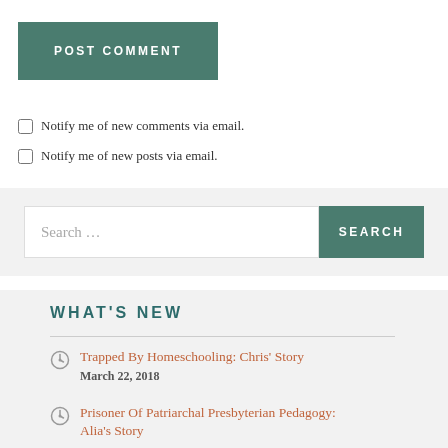POST COMMENT
Notify me of new comments via email.
Notify me of new posts via email.
Search ...
WHAT'S NEW
Trapped By Homeschooling: Chris' Story
March 22, 2018
Prisoner Of Patriarchal Presbyterian Pedagogy: Alia's Story